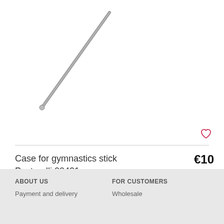[Figure (photo): A silver/metallic gymnastics stick (rod) shown diagonally against a white background, partially visible from upper left to lower right.]
Case for gymnastics stick Pastorelli 00421
€10
[Figure (other): A small white color swatch square with a dark border, representing a color option for the product.]
ABOUT US
Payment and delivery
FOR CUSTOMERS
Wholesale